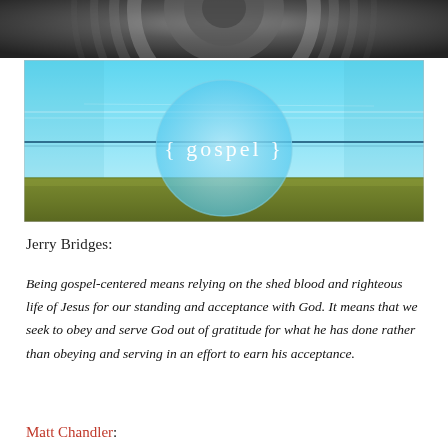[Figure (photo): Top portion: black and white close-up image of a stone or concrete surface with circular texture]
[Figure (illustration): Gospel banner image: panoramic landscape with sky and field, large translucent blue circle in center with white text '{ gospel }' and horizontal lines across the banner]
Jerry Bridges:
Being gospel-centered means relying on the shed blood and righteous life of Jesus for our standing and acceptance with God. It means that we seek to obey and serve God out of gratitude for what he has done rather than obeying and serving in an effort to earn his acceptance.
Matt Chandler: